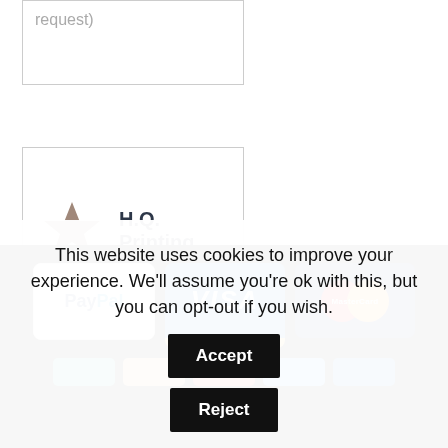request)
H.Q. Printing
[Figure (logo): PayPal, Visa, and MasterCard payment method badges in footer]
This website uses cookies to improve your experience. We'll assume you're ok with this, but you can opt-out if you wish.
Accept
Reject